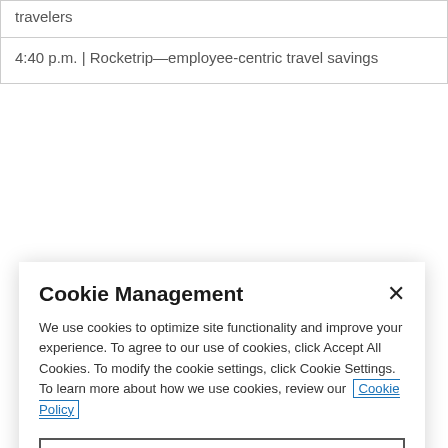| travelers |
| 4:40 p.m. | Rocketrip—employee-centric travel savings |
Cookie Management
We use cookies to optimize site functionality and improve your experience. To agree to our use of cookies, click Accept All Cookies. To modify the cookie settings, click Cookie Settings. To learn more about how we use cookies, review our Cookie Policy
Cookie settings
Reject All
ACCEPT ALL COOKIES